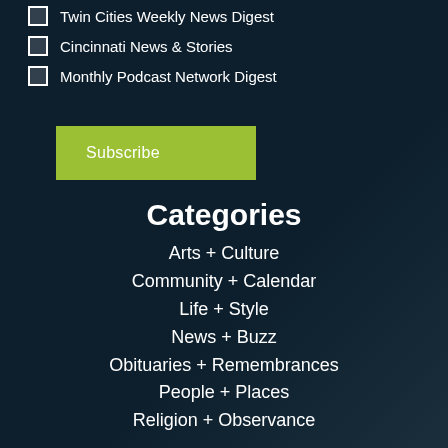Twin Cities Weekly News Digest
Cincinnati News & Stories
Monthly Podcast Network Digest
Subscribe
Categories
Arts + Culture
Community + Calendar
Life + Style
News + Buzz
Obituaries + Remembrances
People + Places
Religion + Observance